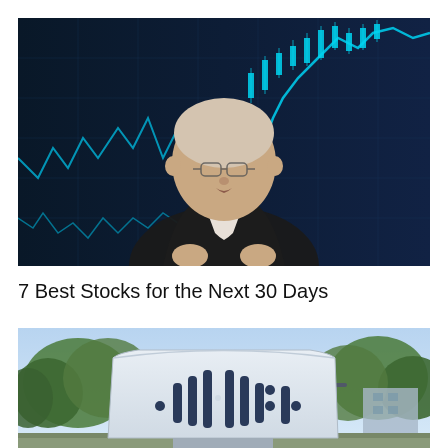[Figure (photo): A man in a dark suit and glasses speaking in front of a blue stock market chart background with candlestick and line graphs.]
7 Best Stocks for the Next 30 Days
[Figure (photo): Cisco Systems outdoor corporate sign/logo monument at their campus, with trees and a building visible in the background.]